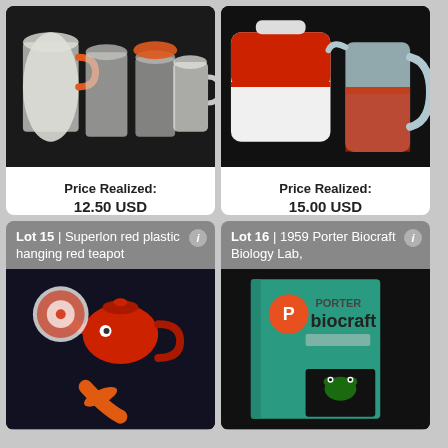[Figure (photo): Photo of glass jars and mugs with orange lids on dark background]
Price Realized:
12.50 USD
[Figure (photo): Photo of white and red plastic cooler with glass pitcher containing red liquid on dark background]
Price Realized:
15.00 USD
[Figure (photo): Lot 15 | Superlon red plastic hanging red teapot — photo shows red teapot and orange utensils on dark background]
[Figure (photo): Lot 16 | 1959 Porter Biocraft Biology Lab — photo shows teal biology lab book/kit on dark background]